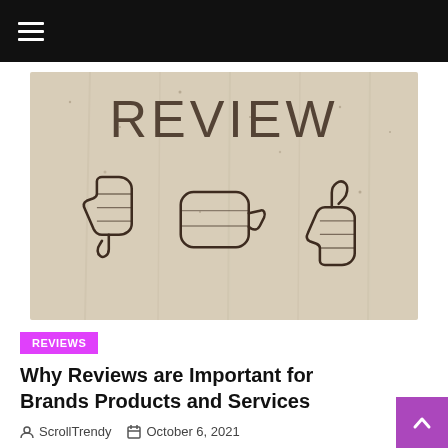Navigation bar with hamburger menu
[Figure (photo): Photo of a stone or wood wall with the word REVIEW carved/written in large letters, and three hand-drawn thumbs: thumbs down on the left, a sideways fist in the middle, and thumbs up on the right.]
REVIEWS
Why Reviews are Important for Brands Products and Services
ScrollTrendy   October 6, 2021